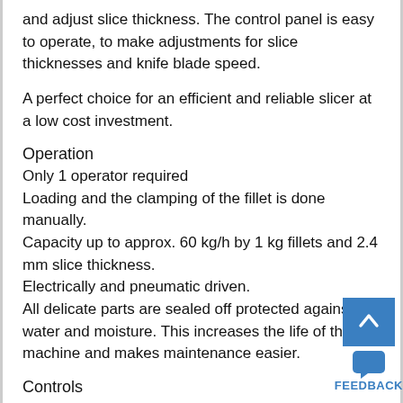and adjust slice thickness. The control panel is easy to operate, to make adjustments for slice thicknesses and knife blade speed.
A perfect choice for an efficient and reliable slicer at a low cost investment.
Operation
Only 1 operator required
Loading and the clamping of the fillet is done manually.
Capacity up to approx. 60 kg/h by 1 kg fillets and 2.4 mm slice thickness.
Electrically and pneumatic driven.
All delicate parts are sealed off protected against water and moisture. This increases the life of the machine and makes maintenance easier.
Controls
Easy to operate